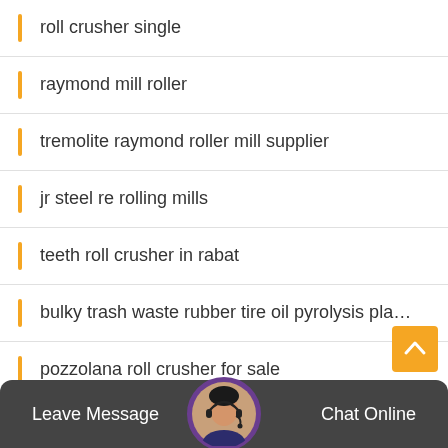roll crusher single
raymond mill roller
tremolite raymond roller mill supplier
jr steel re rolling mills
teeth roll crusher in rabat
bulky trash waste rubber tire oil pyrolysis pla…
pozzolana roll crusher for sale
double roll crusher i…nitsky region
Leave Message   Chat Online